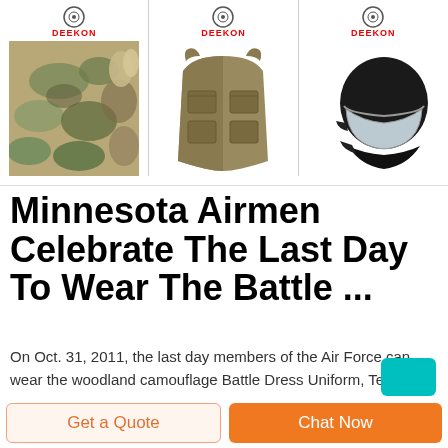[Figure (photo): Advertisement banner with three Deekon-branded product images: camouflage fabric, tactical vest, and riot helmet. Each item has the Deekon logo above it.]
Minnesota Airmen Celebrate The Last Day To Wear The Battle ...
On Oct. 31, 2011, the last day members of the Air Force can wear the woodland camouflage Battle Dress Uniform, Technical Sgt. Melissa Boorman, (left) a production recruiter with the 133rd Airlift Wing, enlists Christine Hassa into the Minnesota Air Nati
Get a Quote
Chat Now